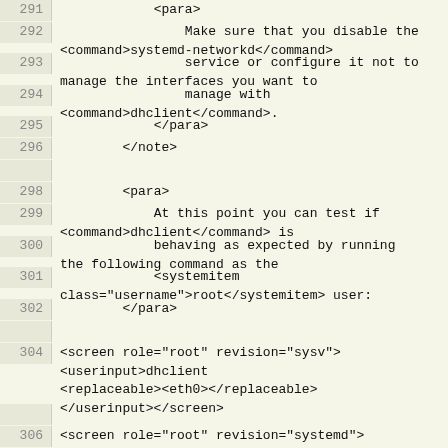Code listing lines 291-306 showing XML/DocBook source code with line numbers
291: <para>
292:     Make sure that you disable the <command>systemd-networkd</command>
293:     service or configure it not to manage the interfaces you want to
294:     manage with <command>dhclient</command>.
295:     </para>
296:     </note>
297: (empty)
298:     <para>
299:     At this point you can test if <command>dhclient</command> is
300:     behaving as expected by running the following command as the
301:     <systemitem class="username">root</systemitem> user:
302:     </para>
303: (empty)
304: <screen role="root" revision="sysv"><userinput>dhclient <replaceable>&lt;eth0&gt;</replaceable></userinput></screen>
305: (empty)
306: <screen role="root" revision="systemd">